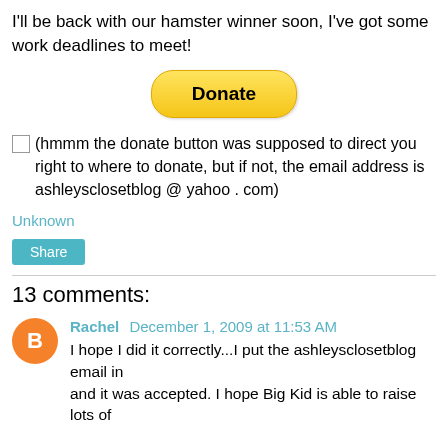I'll be back with our hamster winner soon, I've got some work deadlines to meet!
[Figure (other): PayPal Donate button with yellow rounded rectangle style]
(hmmm the donate button was supposed to direct you right to where to donate, but if not, the email address is ashleysclosetblog @ yahoo . com)
Unknown
Share
13 comments:
Rachel December 1, 2009 at 11:53 AM
I hope I did it correctly...I put the ashleysclosetblog email in and it was accepted. I hope Big Kid is able to raise lots of